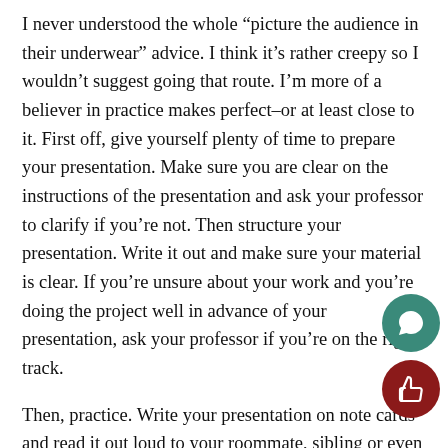I never understood the whole “picture the audience in their underwear” advice. I think it’s rather creepy so I wouldn’t suggest going that route. I’m more of a believer in practice makes perfect–or at least close to it. First off, give yourself plenty of time to prepare your presentation. Make sure you are clear on the instructions of the presentation and ask your professor to clarify if you’re not. Then structure your presentation. Write it out and make sure your material is clear. If you’re unsure about your work and you’re doing the project well in advance of your presentation, ask your professor if you’re on the right track.
Then, practice. Write your presentation on note cards and read it out loud to your roommate, sibling or even your pet–cats will always give you honest feedback. If material needs to be memorized, I suggest choosing...